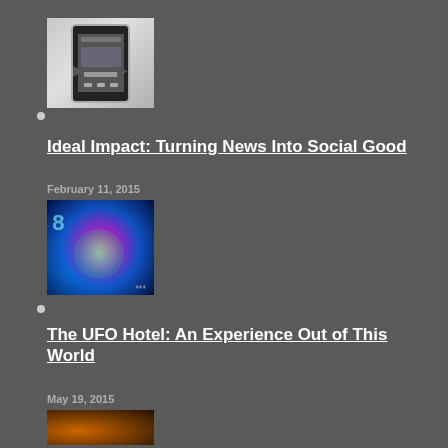[Figure (screenshot): Smartphone screenshot showing a music player app interface with navigation arrows on left and right]
Ideal Impact: Turning News Into Social Good
February 11, 2015
[Figure (photo): Futuristic tunnel or UFO-themed scene with pink/purple neon lights and glowing green orb]
The UFO Hotel: An Experience Out of This World
May 19, 2015
[Figure (photo): Partial view of a person or scene at the bottom, dark warm tones]